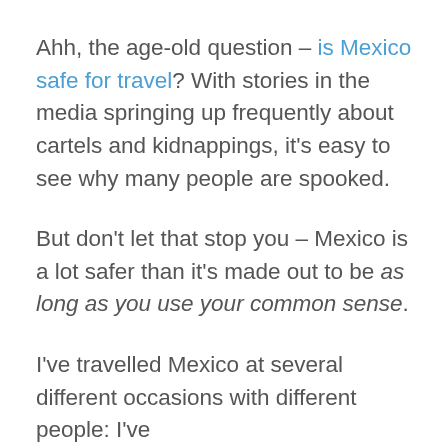Ahh, the age-old question – is Mexico safe for travel? With stories in the media springing up frequently about cartels and kidnappings, it's easy to see why many people are spooked.
But don't let that stop you – Mexico is a lot safer than it's made out to be as long as you use your common sense.
I've travelled Mexico at several different occasions with different people: I've